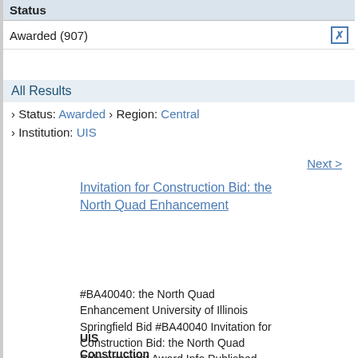Status
Awarded (907)
All Results
› Status: Awarded › Region: Central › Institution: UIS
Next >
Invitation for Construction Bid: the North Quad Enhancement
#BA40040: the North Quad Enhancement University of Illinois Springfield Bid #BA40040 Invitation for Construction Bid: the North Quad Enhancement Award Info Published Friday January 7, 2005 Multiple contractors: R.D. Lawrence Construction ($706,800 for Division I - General work) Petersburg Plumbin...
UIS Construction Awarded